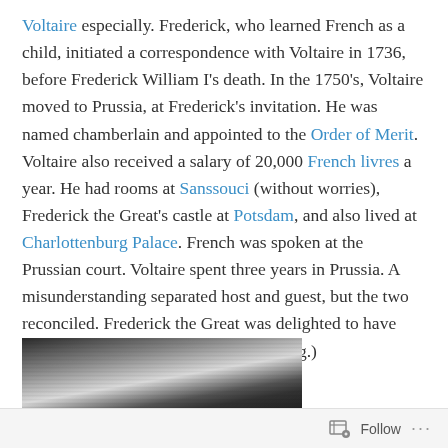Voltaire especially. Frederick, who learned French as a child, initiated a correspondence with Voltaire in 1736, before Frederick William I's death. In the 1750's, Voltaire moved to Prussia, at Frederick's invitation. He was named chamberlain and appointed to the Order of Merit. Voltaire also received a salary of 20,000 French livres a year. He had rooms at Sanssouci (without worries), Frederick the Great's castle at Potsdam, and also lived at Charlottenburg Palace. French was spoken at the Prussian court. Voltaire spent three years in Prussia. A misunderstanding separated host and guest, but the two reconciled. Frederick the Great was delighted to have known Voltaire. (See Voltaire, Wiki2.org.)
[Figure (photo): Black and white photograph partially visible at bottom of page, showing architectural or interior scene.]
Follow ...